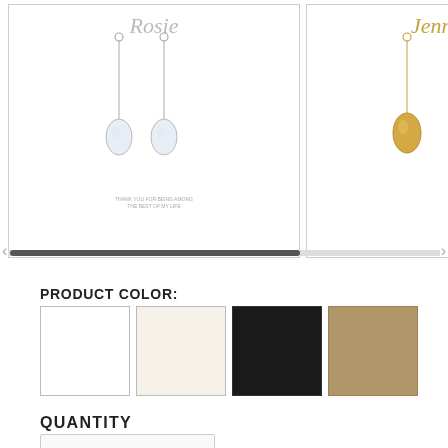[Figure (screenshot): Product image carousel showing three jewelry product cards with dangling crystal earrings. First card (silver/white): cursive name 'Rosie' at top, two dangling crystal earrings, text 'THANK YOU FOR BEING AMONG THE BEST OF MY LIFE'. Second card (gold): cursive name 'Jennifer' at top, two gold crystal earrings. Third card (partially visible, silver/blue): bold text 'MICHEL' at top, two dangling earrings, text 'I COULDN'T DO IT WITH'. A horizontal scrollbar is visible at bottom.]
PRODUCT COLOR:
[Figure (infographic): Four color swatches: white, off-white/cream, black, and tan/gold]
QUANTITY
1
When will I receive it? See Arrival Dates